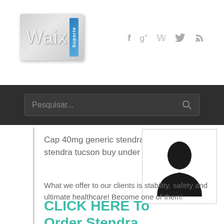[Figure (logo): Waix Suporte logo with metallic background and blue ribbon]
[Figure (other): Social media icons: Facebook (f), Google+ (g+), Twitter (bird), RSS feed]
[Figure (other): Search bar with placeholder text 'Pesquisar...' and magnifying glass icon]
Cap 40mg generic stendra, stendra tucson buy under
[Figure (photo): Default user silhouette avatar image]
What we offer to our clients is stability, safety and ultimate healthcare! Become one of them!
CLICK HERE To Order Stendra